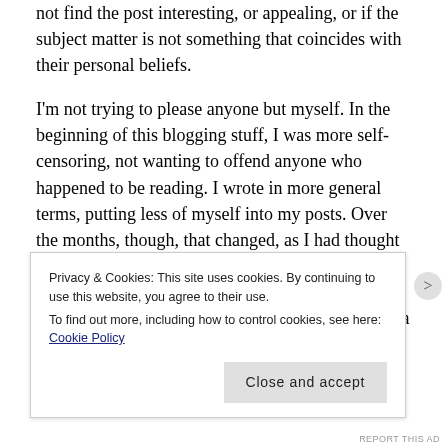not find the post interesting, or appealing, or if the subject matter is not something that coincides with their personal beliefs.
I'm not trying to please anyone but myself. In the beginning of this blogging stuff, I was more self-censoring, not wanting to offend anyone who happened to be reading. I wrote in more general terms, putting less of myself into my posts. Over the months, though, that changed, as I had thought that it might. My persona began to creep into my posts more and more. My life, my family, all of it, became fodder. So much so that now my posts are a virtual
Privacy & Cookies: This site uses cookies. By continuing to use this website, you agree to their use.
To find out more, including how to control cookies, see here: Cookie Policy
Close and accept